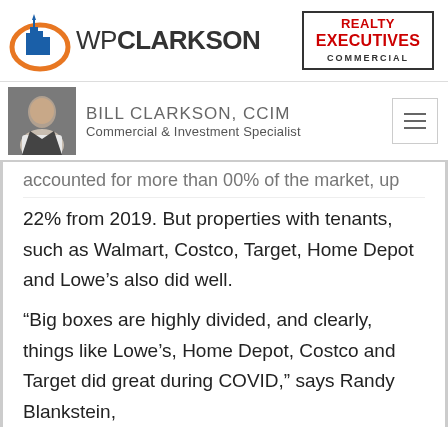[Figure (logo): WP Clarkson logo with orange globe/building icon and text]
[Figure (logo): Realty Executives Commercial badge logo in red and black]
[Figure (photo): Headshot photo of Bill Clarkson]
BILL CLARKSON, CCIM
Commercial & Investment Specialist
accounted for more than 00% of the market, up
22% from 2019. But properties with tenants, such as Walmart, Costco, Target, Home Depot and Lowe’s also did well.
“Big boxes are highly divided, and clearly, things like Lowe’s, Home Depot, Costco and Target did great during COVID,” says Randy Blankstein,